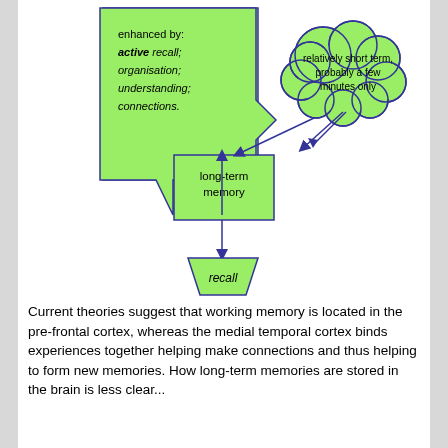[Figure (flowchart): Flowchart showing memory process: a green speech-bubble shape labeled 'enhanced by: active recall; organisation; understanding; connections' points down to a green rectangle labeled 'long-term memory'. A green cloud shape labeled 'relatively short term, probably a few minutes only' points down with an arrow to the 'long-term memory' box. From 'long-term memory' an arrow points down to a green trapezoid labeled 'recall'.]
Current theories suggest that working memory is located in the pre-frontal cortex, whereas the medial temporal cortex binds experiences together helping make connections and thus helping to form new memories. How long-term memories are stored in the brain is less clear...